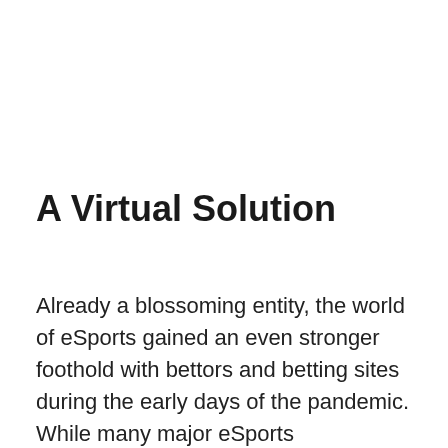A Virtual Solution
Already a blossoming entity, the world of eSports gained an even stronger foothold with bettors and betting sites during the early days of the pandemic. While many major eSports competitions were being conducted in arenas with spectators in attendance, the ability for competitions in